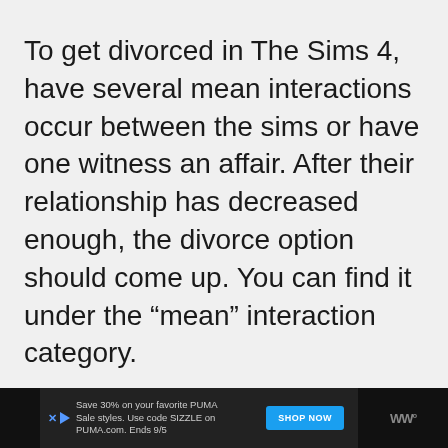To get divorced in The Sims 4, have several mean interactions occur between the sims or have one witness an affair. After their relationship has decreased enough, the divorce option should come up. You can find it under the “mean” interaction category.
Save 30% on your favorite PUMA Sale styles. Use code SIZZLE on PUMA.com. Ends 9/5 SHOP NOW